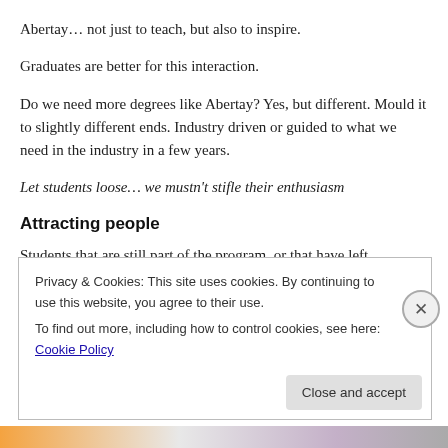Abertay… not just to teach, but also to inspire.
Graduates are better for this interaction.
Do we need more degrees like Abertay? Yes, but different. Mould it to slightly different ends. Industry driven or guided to what we need in the industry in a few years.
Let students loose… we mustn't stifle their enthusiasm
Attracting people
Students that are still part of the program, or that have left
Privacy & Cookies: This site uses cookies. By continuing to use this website, you agree to their use.
To find out more, including how to control cookies, see here: Cookie Policy
Close and accept